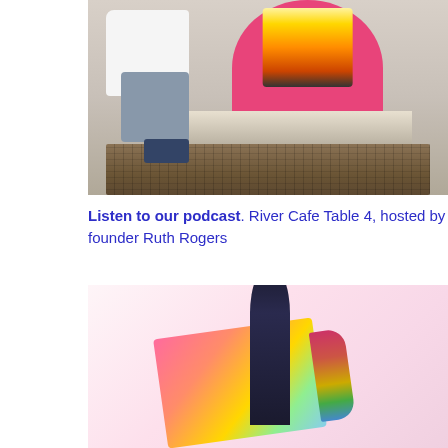[Figure (photo): A person in a white chef coat sitting relaxed near a pink fireplace surround with a fire burning inside, with stacked firewood logs below the hearth. The person has grey/blue pants and checkered sneakers.]
Listen to our podcast. River Cafe Table 4, hosted by founder Ruth Rogers
[Figure (photo): A wine bottle and colorful book or box with a vibrant multi-colored cover visible in the lower portion of the page, with a pinkish-white background.]